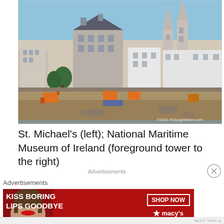[Figure (photo): Coastal cityscape photo showing a waterfront town with historic buildings including two tall Gothic church spires on the right, a distinctive mansard-roofed building in the center, and construction equipment/machinery on the foreground shoreline. Clear blue sky. Watermark reads ©2021 RDougWicker.com]
St. Michael's (left); National Maritime Museum of Ireland (foreground tower to the right)
Advertisements
Advertisements
[Figure (photo): Advertisement banner for Macy's. Red background with white bold text reading 'KISS BORING LIPS GOODBYE' on the left, a close-up photo of a woman's face with red lips in the center, and on the right a 'SHOP NOW' button with Macy's star logo below it.]